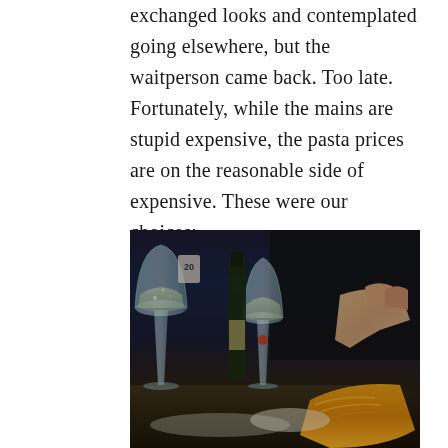exchanged looks and contemplated going elsewhere, but the waitperson came back. Too late. Fortunately, while the mains are stupid expensive, the pasta prices are on the reasonable side of expensive. These were our choices:
[Figure (photo): Restaurant table scene showing two champagne/wine flutes with sparkling wine, a wine bottle in the background, a hand in the foreground holding what appears to be bread or food, dimly lit restaurant atmosphere]